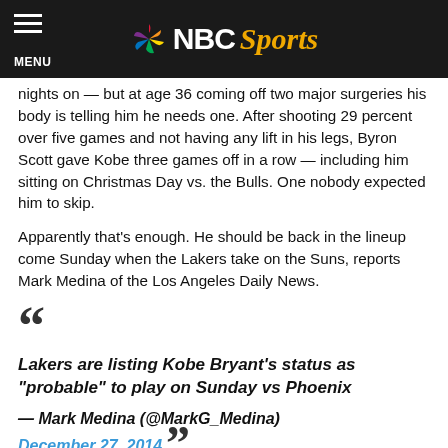NBC Sports
nights on — but at age 36 coming off two major surgeries his body is telling him he needs one. After shooting 29 percent over five games and not having any lift in his legs, Byron Scott gave Kobe three games off in a row — including him sitting on Christmas Day vs. the Bulls. One nobody expected him to skip.
Apparently that's enough. He should be back in the lineup come Sunday when the Lakers take on the Suns, reports Mark Medina of the Los Angeles Daily News.
Lakers are listing Kobe Bryant's status as "probable" to play on Sunday vs Phoenix
— Mark Medina (@MarkG_Medina)
December 27, 2014